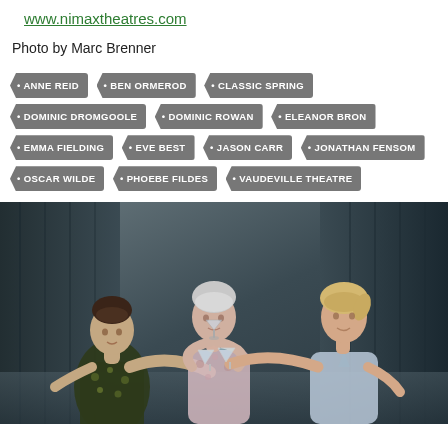www.nimaxtheatres.com
Photo by Marc Brenner
• ANNE REID
• BEN ORMEROD
• CLASSIC SPRING
• DOMINIC DROMGOOLE
• DOMINIC ROWAN
• ELEANOR BRON
• EMMA FIELDING
• EVE BEST
• JASON CARR
• JONATHAN FENSOM
• OSCAR WILDE
• PHOEBE FILDES
• VAUDEVILLE THEATRE
[Figure (photo): Three women on a stage toasting with cocktail glasses. Left woman in dark floral dress with dark updo hair, centre woman in light floral top with white/grey hair, right woman in light blue top with blonde hair. Dark curtained background.]